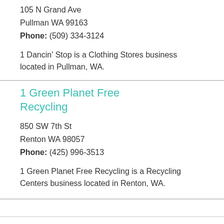105 N Grand Ave
Pullman WA 99163
Phone: (509) 334-3124
1 Dancin' Stop is a Clothing Stores business located in Pullman, WA.
1 Green Planet Free Recycling
850 SW 7th St
Renton WA 98057
Phone: (425) 996-3513
1 Green Planet Free Recycling is a Recycling Centers business located in Renton, WA.